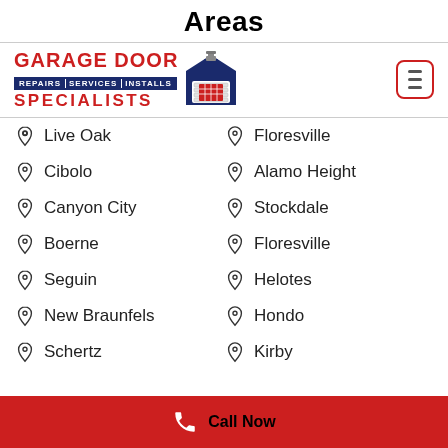Areas
[Figure (logo): Garage Door Specialists logo with text: GARAGE DOOR, REPAIRS | SERVICES | INSTALLS, SPECIALISTS, and a garage door icon]
Live Oak
Floresville
Cibolo
Alamo Height
Canyon City
Stockdale
Boerne
Floresville
Seguin
Helotes
New Braunfels
Hondo
Schertz
Kirby
Call Now